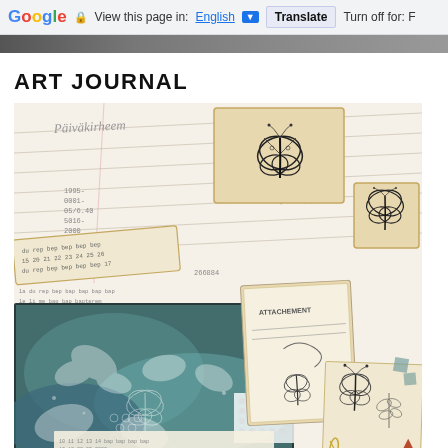Google  View this page in: English [▼]  Translate  Turn off for: F
[Figure (photo): Partial top of a photo showing dark hair or background, cropped at top of page]
ART JOURNAL
[Figure (photo): Overhead flat-lay photo of an art journal spread with rubber stamps featuring butterfly motifs, handwritten ledger pages with cursive script, a blue and green painted journal page with butterfly impressions, and a tag labeled ATTACHEMENT with butterfly decoration. Wooden rubber stamps are scattered on lined paper pages.]